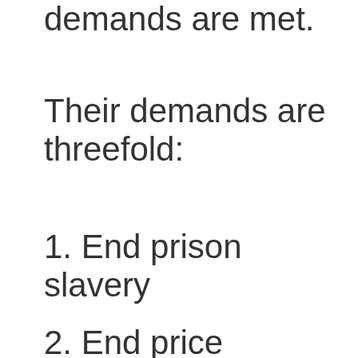demands are met.
Their demands are threefold:
1. End prison slavery
2. End price